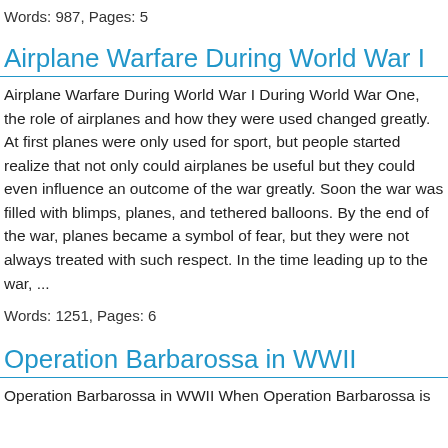Words: 987, Pages: 5
Airplane Warfare During World War I
Airplane Warfare During World War I During World War One, the role of airplanes and how they were used changed greatly. At first planes were only used for sport, but people started realize that not only could airplanes be useful but they could even influence an outcome of the war greatly. Soon the war was filled with blimps, planes, and tethered balloons. By the end of the war, planes became a symbol of fear, but they were not always treated with such respect. In the time leading up to the war, ...
Words: 1251, Pages: 6
Operation Barbarossa in WWII
Operation Barbarossa in WWII When Operation Barbarossa is